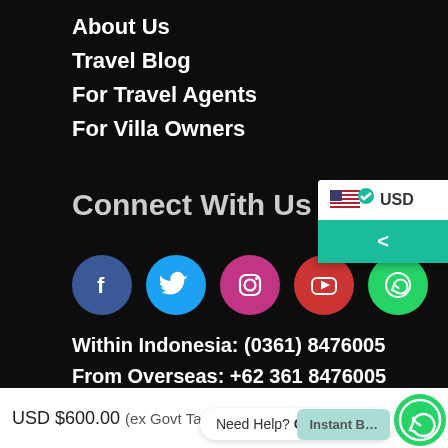About Us
Travel Blog
For Travel Agents
For Villa Owners
Connect With Us
[Figure (infographic): Row of 5 social media icon circles: Facebook (dark blue), Twitter (cyan), Instagram (magenta/pink), YouTube (red), WhatsApp (green)]
Within Indonesia: (0361) 8476005
From Overseas: +62 361 8476005
USD
USD $600.00 (ex Govt Tax,
Need Help? Chat with us